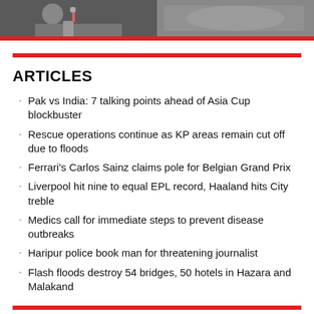[Figure (photo): Two side-by-side news photos at the top of the page]
ARTICLES
Pak vs India: 7 talking points ahead of Asia Cup blockbuster
Rescue operations continue as KP areas remain cut off due to floods
Ferrari's Carlos Sainz claims pole for Belgian Grand Prix
Liverpool hit nine to equal EPL record, Haaland hits City treble
Medics call for immediate steps to prevent disease outbreaks
Haripur police book man for threatening journalist
Flash floods destroy 54 bridges, 50 hotels in Hazara and Malakand
CATEGORIES